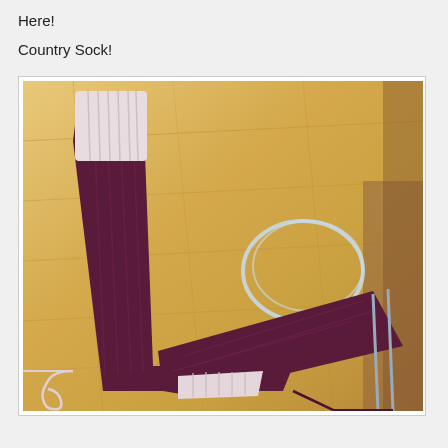Here!
Country Sock!
[Figure (photo): A knitted sock in progress on circular needles, lying on a wooden table. The sock has a white ribbed cuff at the top and a white toe section, with the main body knitted in dark purple/burgundy ribbed yarn. Knitting needles and yarn are visible.]